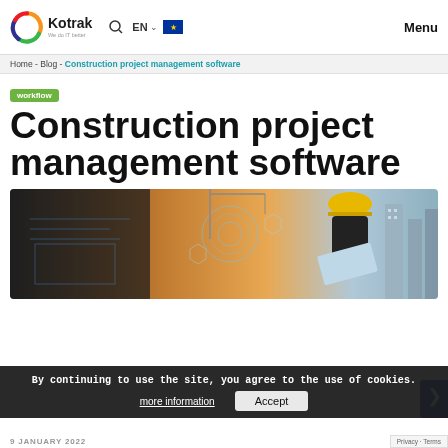Kotrak — We do IT better | EN | Menu
Home - Blog - Construction project management software
workflow
Construction project management software
[Figure (photo): Construction worker wearing yellow hard hat reviewing blueprints against a background of a crane and city buildings, overlaid with digital HUD/technology icons]
By continuing to use the site, you agree to the use of cookies.
more information   Accept
Privacy · Terms
9 JANUARY 2022